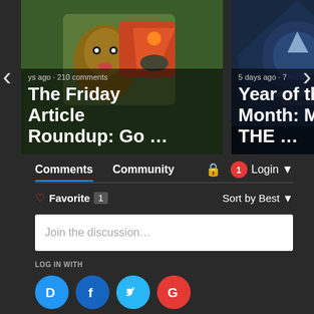[Figure (screenshot): Carousel card left: animated cartoon image with text overlay 'The Friday Article Roundup: Go ...' and meta '...ys ago · 210 comments']
[Figure (screenshot): Carousel card right: sci-fi image with text overlay 'Year of the Month: Mille... THE ...' and meta '5 days ago · 7...']
Comments   Community   🔒   1   Login ▾
♡ Favorite 1   Sort by Best ▾
Join the discussion…
LOG IN WITH
D  f  🐦  G
OR SIGN UP WITH DISQUS ?